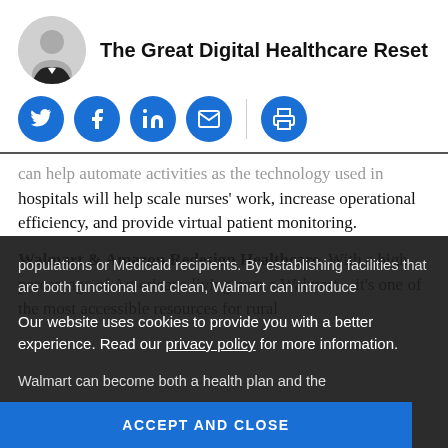The Great Digital Healthcare Reset
[Figure (illustration): Circular avatar photo of a man in a suit, used as an author profile image]
[Figure (infographic): Social media share icons: Twitter (bird), Facebook (f), LinkedIn (in), Email (envelope), Print (printer) on blue circular buttons with a vertical divider before the printer icon]
can help automate activities as the technology used in hospitals will help scale nurses' work, increase operational efficiency, and provide virtual patient monitoring.
Walmart & Amazon Redesign Healthcare. With a high percentage of Americans living near a Walmart—it's one of the most accessible resources for rural populations or Medicaid recipients. By establishing facilities that are both functional and clean, Walmart can introduce low-cost healthcare services. Walmart can become both a health plan and the
Our website uses cookies to provide you with a better experience. Read our privacy policy for more information.
ACCEPT AND CLOSE